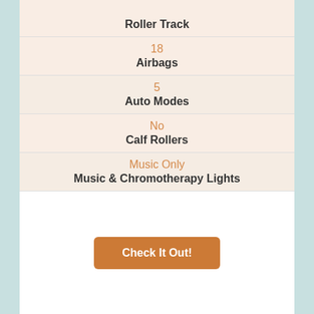Roller Track
18 — Airbags
5 — Auto Modes
No — Calf Rollers
Music Only — Music & Chromotherapy Lights
Check It Out!